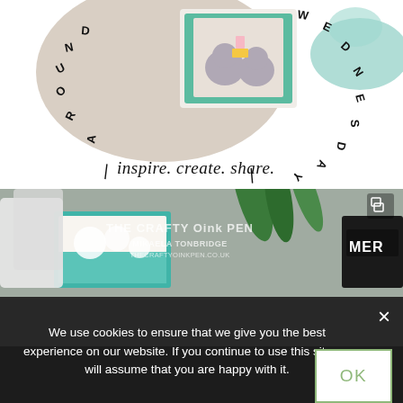[Figure (photo): Top half showing a crafting/stamping blog banner with circular text reading 'AROUND' and 'WEDNESDAY' arranged in a circle, a photo of cute hippo characters on a greeting card, and cursive script text 'inspire. create. share.' at the bottom.]
[Figure (photo): Photo of craft cards with winter/Christmas theme, white die-cut snowflake designs, teal/mint colored card, and green leaves background. Watermark text reads 'THE CRAFTY Oink PEN', 'MIKAELA TONBRIDGE', 'THECRAFTYOINKPEN.CO.UK'. A black stamp/ink pad partially visible on right showing 'MER'.]
We use cookies to ensure that we give you the best experience on our website. If you continue to use this site we will assume that you are happy with it.
OK